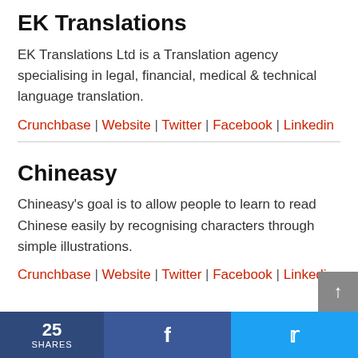EK Translations
EK Translations Ltd is a Translation agency specialising in legal, financial, medical & technical language translation.
Crunchbase | Website | Twitter | Facebook | Linkedin
Chineasy
Chineasy's goal is to allow people to learn to read Chinese easily by recognising characters through simple illustrations.
Crunchbase | Website | Twitter | Facebook | Linkedin
25 SHARES  [Facebook share]  [Twitter share]